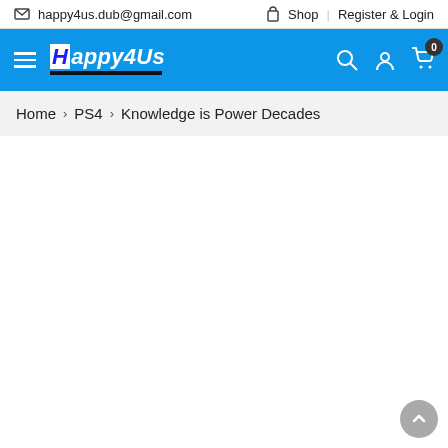happy4us.dub@gmail.com   Shop   Register & Login
[Figure (screenshot): Happy4Us website navigation bar with blue background, hamburger menu, logo 'Happy4Us', search icon, user icon, and cart icon with badge '0']
Home > PS4 > Knowledge is Power Decades